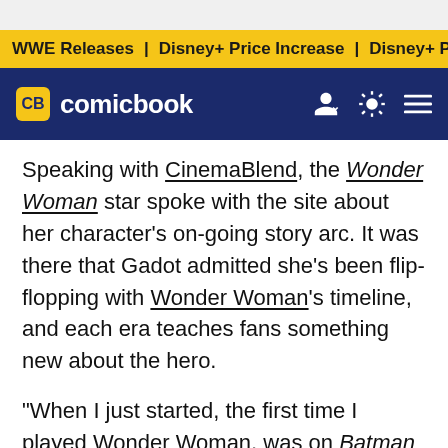WWE Releases | Disney+ Price Increase | Disney+ Price Incre
[Figure (logo): ComicBook.com logo with CB badge in yellow on dark navy navigation bar]
Speaking with CinemaBlend, the Wonder Woman star spoke with the site about her character's on-going story arc. It was there that Gadot admitted she's been flip-flopping with Wonder Woman's timeline, and each era teaches fans something new about the hero.
"When I just started, the first time I played Wonder Woman, was on Batman v Superman, and it was current day, so I got to play the 'end result' of who Wonder Woman is," Gadot said. "And I was very curious to understand and really go through who she is and how she became Wonder Woman.